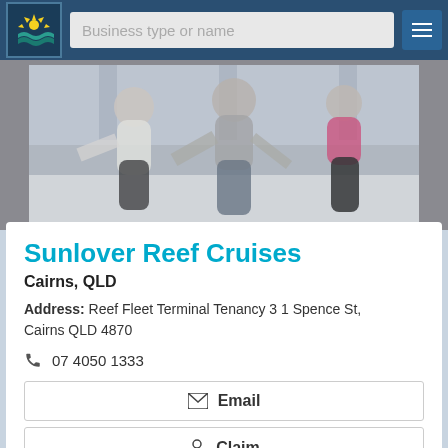Business type or name
[Figure (photo): Blurry photo of people ice skating, three figures visible]
Sunlover Reef Cruises
Cairns, QLD
Address: Reef Fleet Terminal Tenancy 3 1 Spence St, Cairns QLD 4870
07 4050 1333
Email
Claim